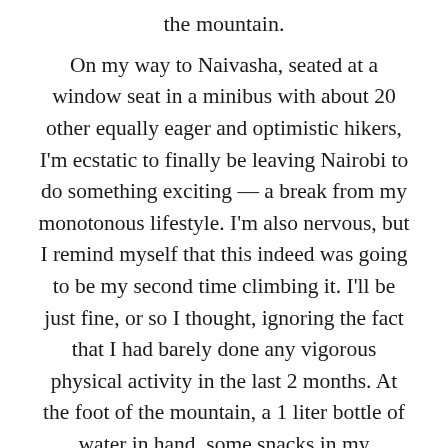the mountain.
On my way to Naivasha, seated at a window seat in a minibus with about 20 other equally eager and optimistic hikers, I'm ecstatic to finally be leaving Nairobi to do something exciting — a break from my monotonous lifestyle. I'm also nervous, but I remind myself that this indeed was going to be my second time climbing it. I'll be just fine, or so I thought, ignoring the fact that I had barely done any vigorous physical activity in the last 2 months. At the foot of the mountain, a 1 liter bottle of water in hand, some snacks in my backpack, and my hiking gear on, I'm bursting with energy — I can make it to the top. Halfway, I'm exhausted and out of breath, but I've still got some energy in me — I can make it … to the top. Two-thirds up, my energy is rapidly waning, I'm climbing much slower, and I'm taking more frequent